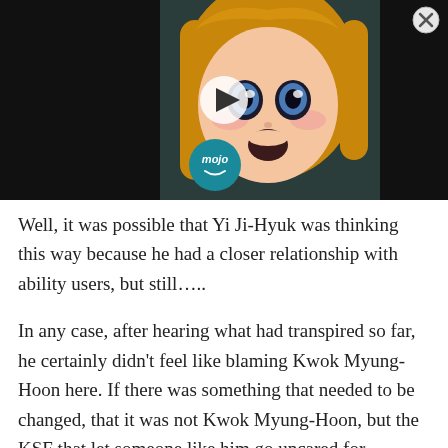[Figure (screenshot): Video thumbnail showing an anime character (girl with blonde hair, surprised expression) with a play button overlay, WatchMojo logo in bottom left, and a close button (X) in the top right corner. Background is dark/black.]
Well, it was possible that Yi Ji-Hyuk was thinking this way because he had a closer relationship with ability users, but still…..
In any case, after hearing what had transpired so far, he certainly didn't feel like blaming Kwok Myung-Hoon here. If there was something that needed to be changed, that it was not Kwok Myung-Hoon, but the KSF that let someone like him go uncared for.